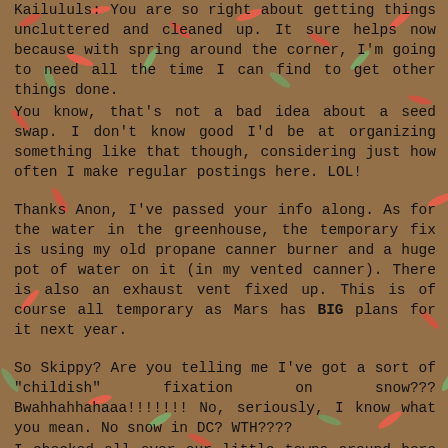Kailululs: You are so right about getting things uncluttered and cleaned up. It sure helps now because with spring around the corner, I'm going to need all the time I can find to get other things done.
You know, that's not a bad idea about a seed swap. I don't know good I'd be at organizing something like that though, considering just how often I make regular postings here. LOL!
Thanks Anon, I've passed your info along. As for the water in the greenhouse, the temporary fix is using my old propane canner burner and a huge pot of water on it (in my vented canner). There is also an exhaust vent fixed up. This is of course all temporary as Mars has BIG plans for it next year.
So Skippy? Are you telling me I've got a sort of "childish" fixation on snow??? Bwahhahhahaaa!!!!!!! No, seriously, I know what you mean. No snow in DC? WTH????
I checked all over our little towns around here for seeds, but pretty much all they have are the standard "Song" hebs. Maybe I should try a bigger town? LOL Are you going to try growing some vegetables again this year? I was so happy